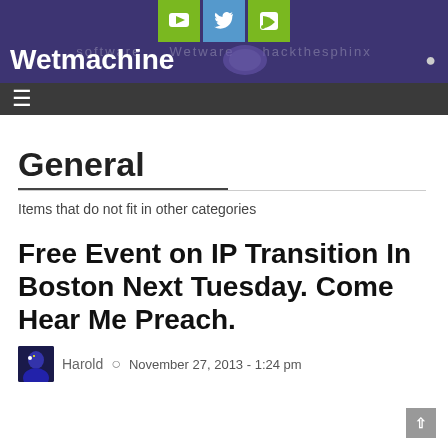Wetmachine
General
Items that do not fit in other categories
Free Event on IP Transition In Boston Next Tuesday. Come Hear Me Preach.
Harold   November 27, 2013 - 1:24 pm